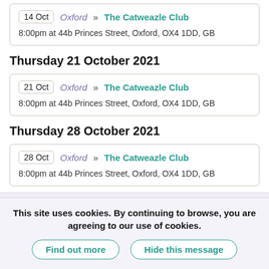14 Oct Oxford » The Catweazle Club
8:00pm at 44b Princes Street, Oxford, OX4 1DD, GB
Thursday 21 October 2021
21 Oct Oxford » The Catweazle Club
8:00pm at 44b Princes Street, Oxford, OX4 1DD, GB
Thursday 28 October 2021
28 Oct Oxford » The Catweazle Club
8:00pm at 44b Princes Street, Oxford, OX4 1DD, GB
Do you want to be featured here? Submit your profile
This site uses cookies. By continuing to browse, you are agreeing to our use of cookies.